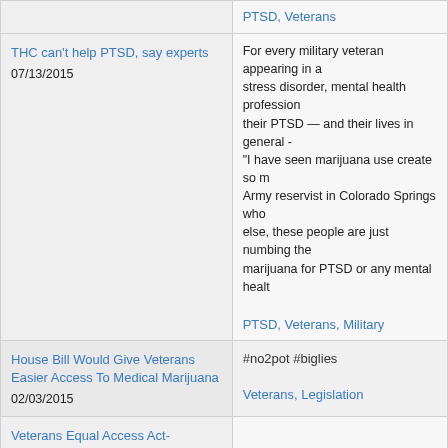| Article | Tags/Content |
| --- | --- |
| [link] (no title shown)
-- | PTSD, Veterans |
| THC can't help PTSD, say experts
07/13/2015 | For every military veteran appearing in a... stress disorder, mental health profession... their PTSD — and their lives in general... "I have seen marijuana use create so m... Army reservist in Colorado Springs who... else, these people are just numbing ther... marijuana for PTSD or any mental healt...
PTSD, Veterans, Military |
| House Bill Would Give Veterans Easier Access To Medical Marijuana
02/03/2015 | #no2pot #biglies
Veterans, Legislation |
| Veterans Equal Access Act- Marijuana
01/28/2015 | PTSD, Veterans |
| Medical Marijuana May Worsen PTSD Symptoms, Increase Violence. Medscape. Dec 15, 2014.
12/16/2014 | Research, PTSD, Veterans, Studies |